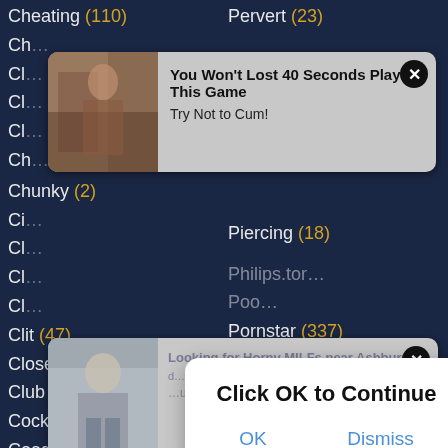Cheating (110)
Pervert (23)
Chunky (2)
Piercing (18)
Clit (47)
Close (361)
Club (33)
Pornstar (337)
Cock (818)
Pregnant (46)
Coed (14)
Pretty (43)
Collar (1)
Princess (4)
College (95)
Private (34)
Compilation (188)
Prostitute (6)
Condom (11)
Public (186)
[Figure (screenshot): Ad popup: You Won't Lost 40 Seconds Playing This Game - Try Not to Cum!]
[Figure (screenshot): Ad popup: Looking for Horny MILFs near Ashburn?]
Click OK to Continue
OK  Dismiss